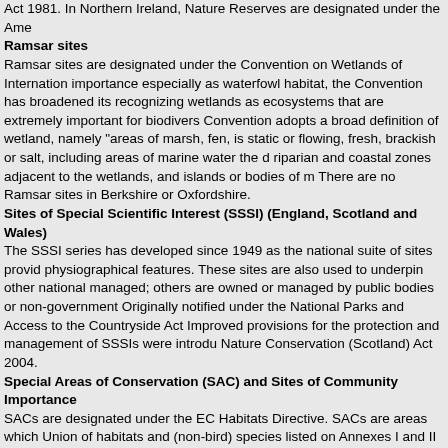Act 1981. In Northern Ireland, Nature Reserves are designated under the Ame
Ramsar sites
Ramsar sites are designated under the Convention on Wetlands of Internation importance especially as waterfowl habitat, the Convention has broadened its recognizing wetlands as ecosystems that are extremely important for biodivers Convention adopts a broad definition of wetland, namely "areas of marsh, fen, is static or flowing, fresh, brackish or salt, including areas of marine water the d riparian and coastal zones adjacent to the wetlands, and islands or bodies of m There are no Ramsar sites in Berkshire or Oxfordshire.
Sites of Special Scientific Interest (SSSI) (England, Scotland and Wales)
The SSSI series has developed since 1949 as the national suite of sites provid physiographical features. These sites are also used to underpin other national managed; others are owned or managed by public bodies or non-government Originally notified under the National Parks and Access to the Countryside Act Improved provisions for the protection and management of SSSIs were introdu Nature Conservation (Scotland) Act 2004.
Special Areas of Conservation (SAC) and Sites of Community Importance
SACs are designated under the EC Habitats Directive. SACs are areas which Union of habitats and (non-bird) species listed on Annexes I and II to the Direc designated under the Conservation (Natural Habitats, &c.) Regulations 1994 (a European Commission by Government, but not yet formally adopted by the Co which have been adopted by the EC, but not yet formally designated by govern UK, designation of SACs is devolved to the relevant administration within each SACs, together with SPAs, form the Natura 2000 network SPAs, together with
Special Protection Areas (SPA)